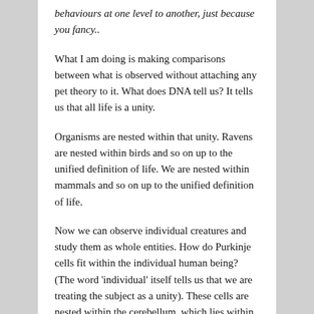behaviours at one level to another, just because you fancy..
What I am doing is making comparisons between what is observed without attaching any pet theory to it. What does DNA tell us? It tells us that all life is a unity.
Organisms are nested within that unity. Ravens are nested within birds and so on up to the unified definition of life. We are nested within mammals and so on up to the unified definition of life.
Now we can observe individual creatures and study them as whole entities. How do Purkinje cells fit within the individual human being? (The word 'individual' itself tells us that we are treating the subject as a unity). These cells are nested within the cerebellum, which lies within the nervous system, which lies within the individual.